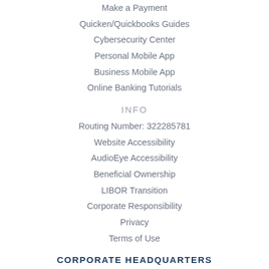Make a Payment
Quicken/Quickbooks Guides
Cybersecurity Center
Personal Mobile App
Business Mobile App
Online Banking Tutorials
INFO
Routing Number: 322285781
Website Accessibility
AudioEye Accessibility
Beneficial Ownership
LIBOR Transition
Corporate Responsibility
Privacy
Terms of Use
CORPORATE HEADQUARTERS